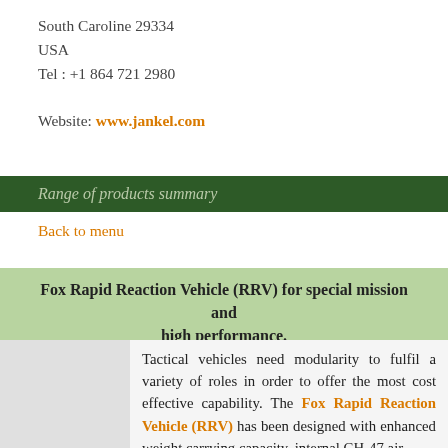South Caroline 29334
USA
Tel : +1 864 721 2980
Website: www.jankel.com
Range of products summary
Back to menu
Fox Rapid Reaction Vehicle (RRV) for special mission and high performance.
Tactical vehicles need modularity to fulfil a variety of roles in order to offer the most cost effective capability. The Fox Rapid Reaction Vehicle (RRV) has been designed with enhanced weight carrying capacity, internal CH-47 air